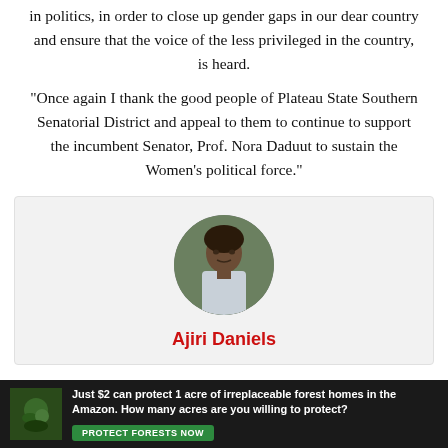in politics, in order to close up gender gaps in our dear country and ensure that the voice of the less privileged in the country, is heard.
“Once again I thank the good people of Plateau State Southern Senatorial District and appeal to them to continue to support the incumbent Senator, Prof. Nora Daduut to sustain the Women’s political force.”
[Figure (photo): Circular portrait photo of author Ajiri Daniels]
Ajiri Daniels
[Figure (infographic): Advertisement banner: Just $2 can protect 1 acre of irreplaceable forest homes in the Amazon. How many acres are you willing to protect? PROTECT FORESTS NOW]